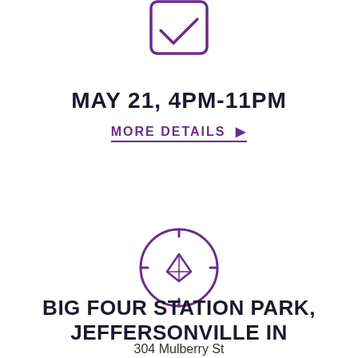[Figure (illustration): Purple outlined checkbox icon with a checkmark, partially visible at top of page]
MAY 21, 4PM-11PM
MORE DETAILS ▶
[Figure (illustration): Purple outlined compass icon with needle pointing northeast]
BIG FOUR STATION PARK, JEFFERSONVILLE IN
304 Mulberry St